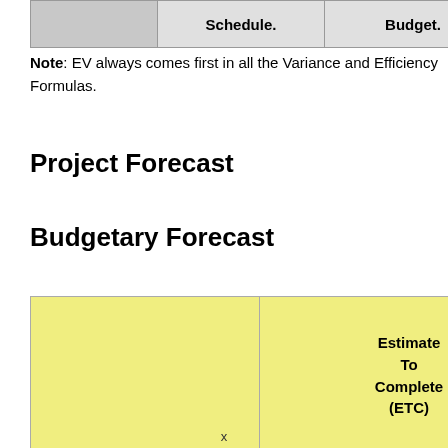|  | Schedule. | Budget. |
| --- | --- | --- |
|  |
Note: EV always comes first in all the Variance and Efficiency Formulas.
Project Forecast
Budgetary Forecast
|  | Estimate To Complete (ETC) | Estimate At Completion (EAC) |
| --- | --- | --- |
|  |
x